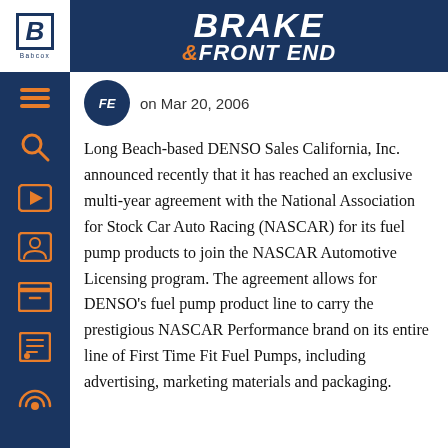BRAKE & FRONT END
on Mar 20, 2006
Long Beach-based DENSO Sales California, Inc. announced recently that it has reached an exclusive multi-year agreement with the National Association for Stock Car Auto Racing (NASCAR) for its fuel pump products to join the NASCAR Automotive Licensing program. The agreement allows for DENSO’s fuel pump product line to carry the prestigious NASCAR Performance brand on its entire line of First Time Fit Fuel Pumps, including advertising, marketing materials and packaging.